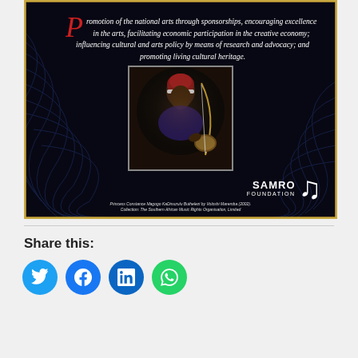[Figure (infographic): Dark navy/black themed banner with wavy curved lines in background. Contains italic white text about promotion of national arts, a photograph of a woman playing a traditional African string instrument (musical bow), SAMRO Foundation logo at bottom right, and a small caption below the photo.]
Share this:
Social share buttons: Twitter (blue bird icon), Facebook (blue f icon), LinkedIn (blue in icon), WhatsApp (green phone icon)